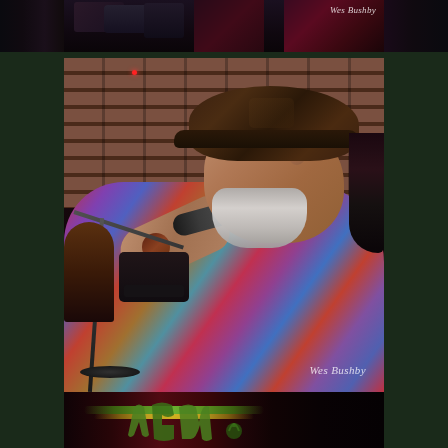[Figure (photo): Top strip showing partial view of a band performing on stage with drums visible, dark moody lighting, with watermark 'Wes Bushby' in top right corner]
[Figure (photo): Main central photograph of a male singer with a gray beard, wearing a dark leather cap and colorful patterned shirt (red, blue, green floral), singing into a microphone on a stand, in front of a brick wall background. Stage equipment visible in background. Watermark 'Wes Bushby' in bottom right of photo.]
[Figure (photo): Bottom strip showing a partial view of a red-lit stage backdrop with a green logo/lettering partially visible]